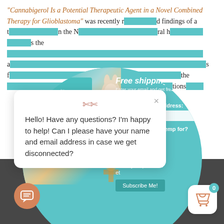“Cannabigerol Is a Potential Therapeutic Agent in a Novel Combined Therapy for Glioblastoma” was recently r... d findings of a t... n the N... ral h... s the ... the ... potential solution for ... tions ...
[Figure (screenshot): Teal circular popup with a product photo on the left (teal gift box with butterfly) and a Free shipping email signup form on the right asking for email address and hemp use (Autism, Pain/Inflammation, Epilepsy, Sleep, Anxiety/Depression, et) with a Subscribe Me! button and X close button]
[Figure (screenshot): White chat popup box with decorative scissors icon at top, X close button, and message: Hello! Have any questions? I'm happy to help! Can I please have your name and email address in case we get disconnected?]
to browse the site, you are agreeing to our use of cookies.
[Figure (screenshot): Accept settings button on dark overlay cookie consent bar]
[Figure (screenshot): Orange circular chat support button at bottom left]
[Figure (screenshot): White rounded cart button at bottom right with teal badge showing 0]